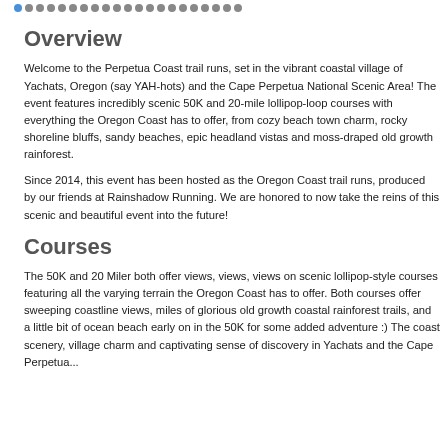• • • • • • • • • • • • • • • • • • • • •
Overview
Welcome to the Perpetua Coast trail runs, set in the vibrant coastal village of Yachats, Oregon (say YAH-hots) and the Cape Perpetua National Scenic Area! The event features incredibly scenic 50K and 20-mile lollipop-loop courses with everything the Oregon Coast has to offer, from cozy beach town charm, rocky shoreline bluffs, sandy beaches, epic headland vistas and moss-draped old growth rainforest.
Since 2014, this event has been hosted as the Oregon Coast trail runs, produced by our friends at Rainshadow Running. We are honored to now take the reins of this scenic and beautiful event into the future!
Courses
The 50K and 20 Miler both offer views, views, views on scenic lollipop-style courses featuring all the varying terrain the Oregon Coast has to offer. Both courses offer sweeping coastline views, miles of glorious old growth coastal rainforest trails, and a little bit of ocean beach early on in the 50K for some added adventure :) The coast scenery, village charm and captivating sense of discovery in Yachats and the Cape Perpetua...